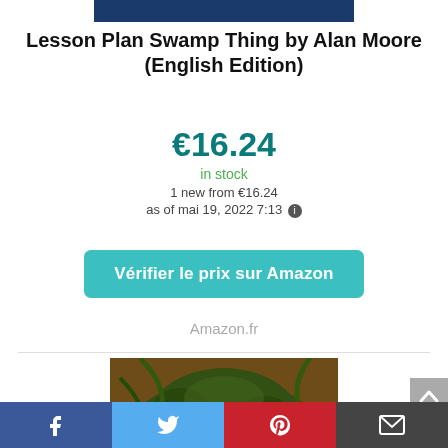[Figure (other): Dark blue rectangular bar at the top center of the page]
Lesson Plan Swamp Thing by Alan Moore (English Edition)
€16.24
in stock
1 new from €16.24
as of mai 19, 2022 7:13
Vérifier le prix sur Amazon
Amazon.fr
[Figure (illustration): Comic book cover art showing Swamp Thing character — a monstrous green creature with red glowing eyes and exposed teeth, with dark brown and yellow background tones]
[Figure (other): Gray scroll-to-top button with upward chevron arrow on the right side]
Facebook | Twitter | Pinterest | Email social sharing bar